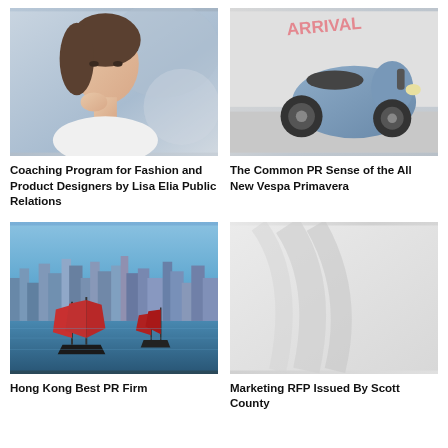[Figure (photo): Woman in white jacket resting chin on hand, thoughtful pose, blurred background]
Coaching Program for Fashion and Product Designers by Lisa Elia Public Relations
[Figure (photo): Blue Vespa Primavera scooter parked against a wall with graffiti reading 'ARRIVAL']
The Common PR Sense of the All New Vespa Primavera
[Figure (photo): Hong Kong harbour with traditional red-sailed junk boats, city skyline in background]
Hong Kong Best PR Firm
[Figure (photo): Light grey placeholder image with subtle diagonal swoosh pattern]
Marketing RFP Issued By Scott County